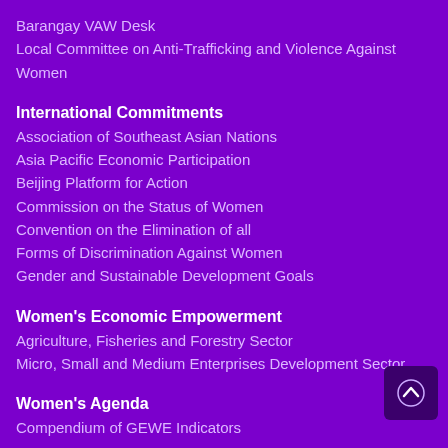Barangay VAW Desk
Local Committee on Anti-Trafficking and Violence Against Women
International Commitments
Association of Southeast Asian Nations
Asia Pacific Economic Participation
Beijing Platform for Action
Commission on the Status of Women
Convention on the Elimination of all
Forms of Discrimination Against Women
Gender and Sustainable Development Goals
Women's Economic Empowerment
Agriculture, Fisheries and Forestry Sector
Micro, Small and Medium Enterprises Development Sector
Women's Agenda
Compendium of GEWE Indicators